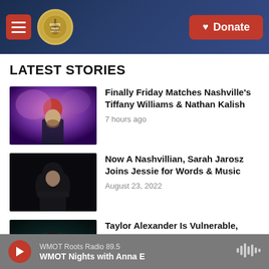Roots Radio | Donate
LATEST STORIES
[Figure (photo): Portrait of a man wearing a red beanie hat against a purple/pink blurred background]
Finally Friday Matches Nashville's Tiffany Williams & Nathan Kalish
7 hours ago
[Figure (photo): Portrait of a woman with long dark hair against a dark background, arms crossed]
Now A Nashvillian, Sarah Jarosz Joins Jessie for Words & Music
August 23, 2022
[Figure (photo): Portrait of a man smiling against a dark teal/smoky background]
Taylor Alexander Is Vulnerable, Personal and Relatable on His Sophomore Release, Hymns For A
WMOT Roots Radio 89.5 | WMOT Nights with Anna E